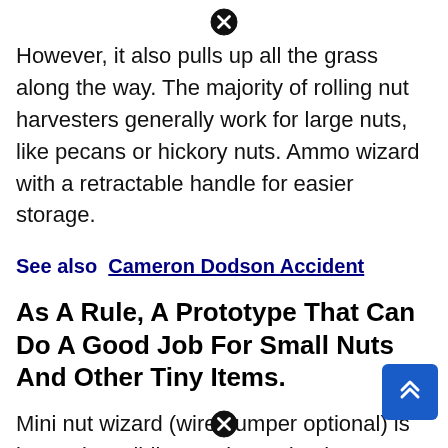[Figure (other): Close/cancel icon (circle with X) at top center]
However, it also pulls up all the grass along the way. The majority of rolling nut harvesters generally work for large nuts, like pecans or hickory nuts. Ammo wizard with a retractable handle for easier storage.
See also  Cameron Dodson Accident
As A Rule, A Prototype That Can Do A Good Job For Small Nuts And Other Tiny Items.
Mini nut wizard (wire dumper optional) is becoming wildly popular and. 7 best acorn picker upper, nut
[Figure (other): Close/cancel icon (circle with X) at bottom center]
[Figure (other): Blue scroll-to-top button with double chevron up arrow, bottom right]